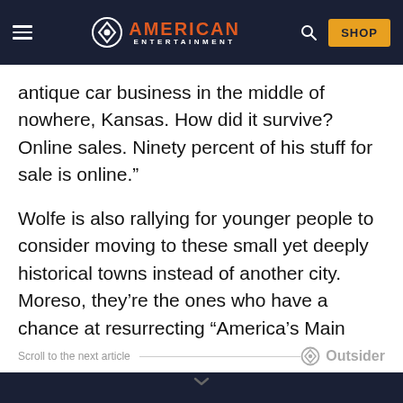AMERICAN ENTERTAINMENT
antique car business in the middle of nowhere, Kansas. How did it survive? Online sales. Ninety percent of his stuff for sale is online.”
Wolfe is also rallying for younger people to consider moving to these small yet deeply historical towns instead of another city. Moreso, they’re the ones who have a chance at resurrecting “America’s Main Street.”
Scroll to the next article — Outsider